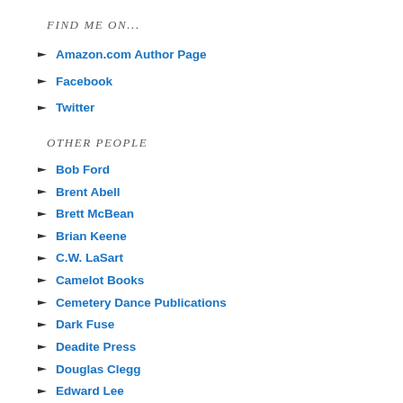FIND ME ON...
Amazon.com Author Page
Facebook
Twitter
OTHER PEOPLE
Bob Ford
Brent Abell
Brett McBean
Brian Keene
C.W. LaSart
Camelot Books
Cemetery Dance Publications
Dark Fuse
Deadite Press
Douglas Clegg
Edward Lee
Gary A. Braunbeck
Geoff Cooper